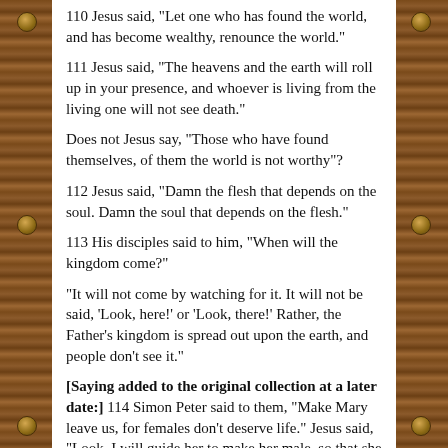110 Jesus said, "Let one who has found the world, and has become wealthy, renounce the world."
111 Jesus said, "The heavens and the earth will roll up in your presence, and whoever is living from the living one will not see death."
Does not Jesus say, "Those who have found themselves, of them the world is not worthy"?
112 Jesus said, "Damn the flesh that depends on the soul. Damn the soul that depends on the flesh."
113 His disciples said to him, "When will the kingdom come?"
"It will not come by watching for it. It will not be said, 'Look, here!' or 'Look, there!' Rather, the Father's kingdom is spread out upon the earth, and people don't see it."
[Saying added to the original collection at a later date:] 114 Simon Peter said to them, "Make Mary leave us, for females don't deserve life." Jesus said, "Look, I will guide her to make her male, so that she